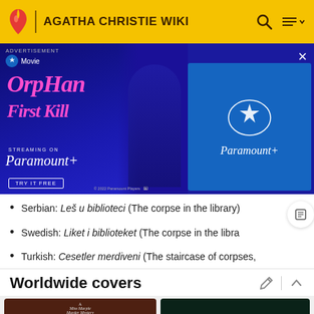AGATHA CHRISTIE WIKI
[Figure (screenshot): Advertisement banner for Paramount+ movie 'Orphan: First Kill' with text 'Streaming on Paramount+' and 'TRY IT FREE' button]
Serbian: Leš u biblioteci (The corpse in the library)
Swedish: Liket i biblioteket (The corpse in the libra…
Turkish: Cesetler merdiveni (The staircase of corpses,…
Worldwide covers
[Figure (photo): Two book covers: left shows Agatha Christie 'A Miss Marple Murder Mystery - Agatha Christie' in brown cover; right shows dark green cover with Agatha Christie signature and 'DIE TOTE IN DER...']